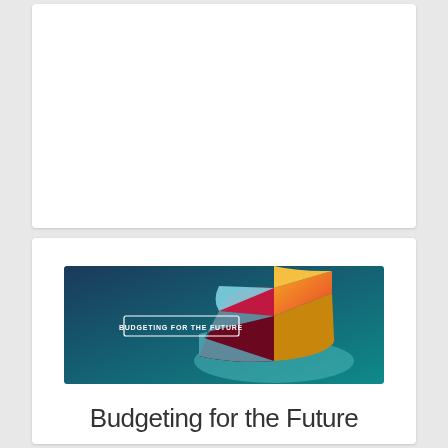[Figure (illustration): Top white card area — blank white space, no visible content]
[Figure (illustration): Promotional illustration for 'Budgeting for the Future' showing a 3D isometric pie chart with dark red, orange-yellow gradient, and light blue slices on a teal/dark blue gradient background. A small white bordered label reads 'BUDGETING FOR THE FUTURE' in the center-left area.]
Budgeting for the Future